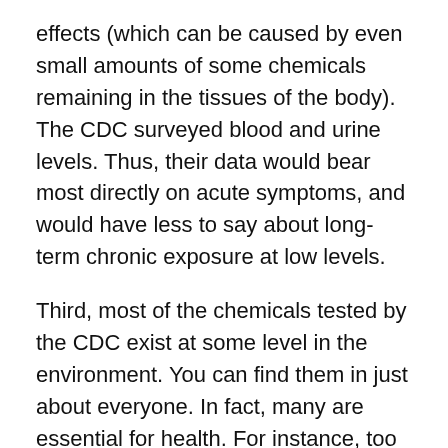effects (which can be caused by even small amounts of some chemicals remaining in the tissues of the body). The CDC surveyed blood and urine levels. Thus, their data would bear most directly on acute symptoms, and would have less to say about long-term chronic exposure at low levels.
Third, most of the chemicals tested by the CDC exist at some level in the environment. You can find them in just about everyone. In fact, many are essential for health. For instance, too much iron in the blood is toxic, but too little can cause iron deficiency anemia.
Our chemical tests have become so sophisticated that they can find traces of chemicals that are smaller than microscopic. Thus, the fact that people carry some level of a chemical in their body is not evidence that it is toxic.